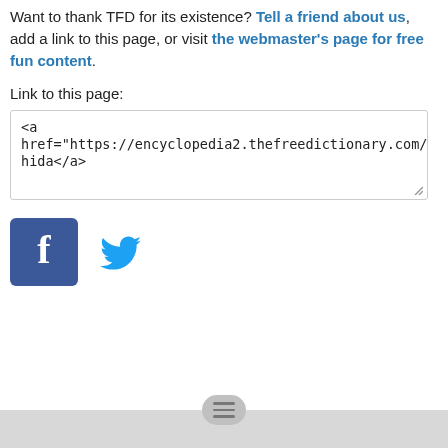Want to thank TFD for its existence? Tell a friend about us, add a link to this page, or visit the webmaster's page for free fun content.
Link to this page:
<a href="https://encyclopedia2.thefreedictionary.com/Oligotrichida">Oligotrichida</a>
[Figure (logo): Facebook logo button - blue square with white F]
[Figure (logo): Twitter logo button - blue bird icon]